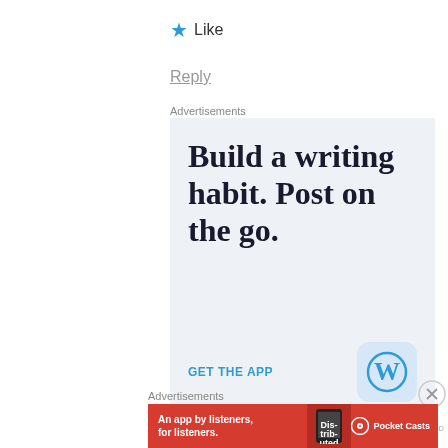★ Like
Reply
Advertisements
[Figure (screenshot): WordPress app advertisement with light blue background. Large serif text reads 'Build a writing habit. Post on the go.' Blue call-to-action text 'GET THE APP' and WordPress logo icon in bottom right.]
REPORT THIS AD
Advertisements
[Figure (screenshot): Pocket Casts red banner advertisement reading 'An app by listeners, for listeners.' with app mockup and Pocket Casts logo.]